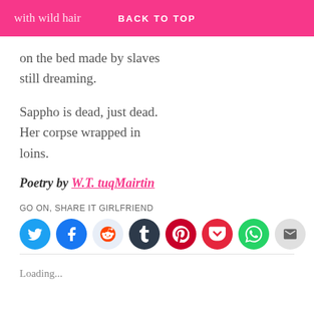with wild hair | BACK TO TOP
on the bed made by slaves
still dreaming.
Sappho is dead, just dead.
Her corpse wrapped in
loins.
Poetry by W.T. tuqMairtin
GO ON, SHARE IT GIRLFRIEND
[Figure (other): Social share buttons: Twitter, Facebook, Reddit, Tumblr, Pinterest, Pocket, WhatsApp, Email]
Loading...